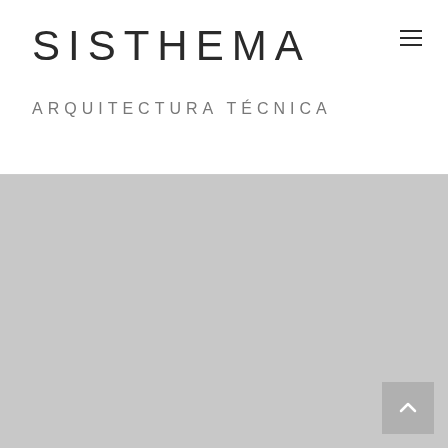SISTHEMA
ARQUITECTURA TÉCNICA
[Figure (other): Gray placeholder content area filling the lower portion of the page with a scroll-to-top button in the bottom right corner]